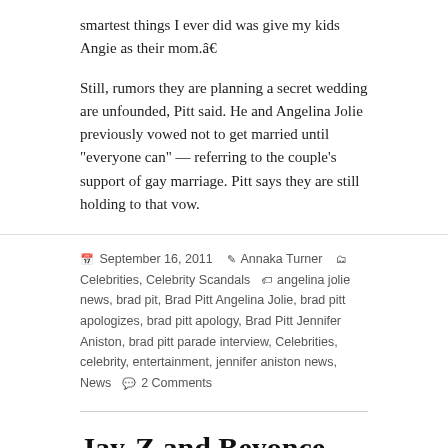smartest things I ever did was give my kids Angie as their mom.â€
Still, rumors they are planning a secret wedding are unfounded, Pitt said. He and Angelina Jolie previously vowed not to get married until “everyone can” — referring to the couple’s support of gay marriage. Pitt says they are still holding to that vow.
September 16, 2011   Annaka Turner   Celebrities, Celebrity Scandals   angelina jolie news, brad pit, Brad Pitt Angelina Jolie, brad pitt apologizes, brad pitt apology, Brad Pitt Jennifer Aniston, brad pitt parade interview, Celebrities, celebrity, entertainment, jennifer aniston news, News   2 Comments
Jay-Z and Beyonce Pregnant: Announcement at VMAs